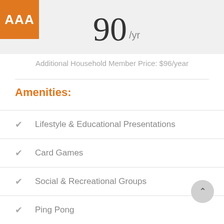[Figure (logo): AAA logo orange square with white text AAA]
90 /yr
Additional Household Member Price: $96/year
Amenities:
Lifestyle & Educational Presentations
Card Games
Social & Recreational Groups
Ping Pong
Art Classes